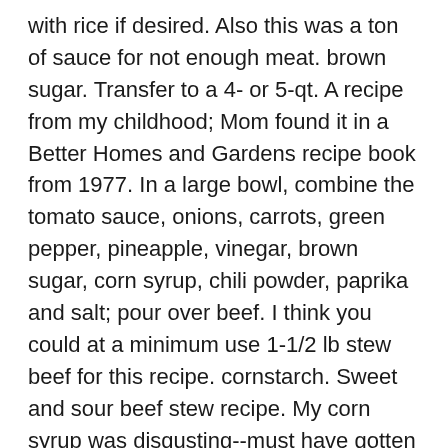with rice if desired. Also this was a ton of sauce for not enough meat. brown sugar. Transfer to a 4- or 5-qt. A recipe from my childhood; Mom found it in a Better Homes and Gardens recipe book from 1977. In a large bowl, combine the tomato sauce, onions, carrots, green pepper, pineapple, vinegar, brown sugar, corn syrup, chili powder, paprika and salt; pour over beef. I think you could at a minimum use 1-1/2 lb stew beef for this recipe. cornstarch. Sweet and sour beef stew recipe. My corn syrup was disgusting--must have gotten old, I don't use it often--so I substituted maple syrup (the real stuff, not Aunt Jemima). But, that was my fault. How to Make Sweet and Sour Beef Stew . 1 c. sliced onion. Just got this into the crockpot for tonight's dinner, so haven't tasted it yet, but I'm sure it's wonderful! slow cooker. Get one of our Sweet and sour beef cubes recipe and prepare delicious and healthy treat for your family or friends. SWEET AND SOUR BEEF STEW : 1 1/2 lb. Wash the skillet and heat it again, using medium-heat. How to Cook Sweet and Sour Beef Tenderloin. 8 oz. In a